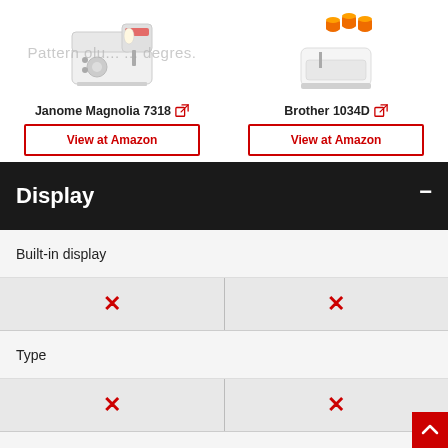[Figure (photo): Janome Magnolia 7318 sewing machine product image]
Janome Magnolia 7318 [external link icon]
View at Amazon
[Figure (photo): Brother 1034D serger/overlock machine product image with orange thread spools]
Brother 1034D [external link icon]
View at Amazon
Pattern olu... ... ...degres.
Display
Built-in display
| Janome Magnolia 7318 | Brother 1034D |
| --- | --- |
| ✗ | ✗ |
Type
| Janome Magnolia 7318 | Brother 1034D |
| --- | --- |
| ✗ | ✗ |
Touch screen